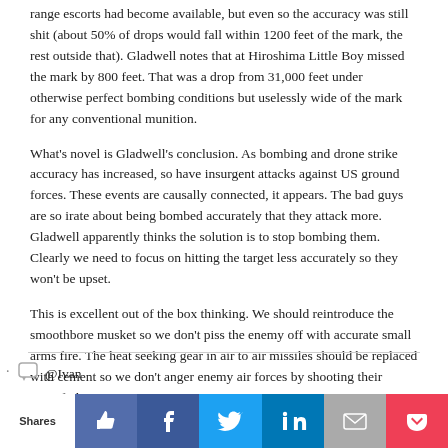range escorts had become available, but even so the accuracy was still shit (about 50% of drops would fall within 1200 feet of the mark, the rest outside that). Gladwell notes that at Hiroshima Little Boy missed the mark by 800 feet. That was a drop from 31,000 feet under otherwise perfect bombing conditions but uselessly wide of the mark for any conventional munition.
What's novel is Gladwell's conclusion. As bombing and drone strike accuracy has increased, so have insurgent attacks against US ground forces. These events are causally connected, it appears. The bad guys are so irate about being bombed accurately that they attack more. Gladwell apparently thinks the solution is to stop bombing them. Clearly we need to focus on hitting the target less accurately so they won't be upset.
This is excellent out of the box thinking. We should reintroduce the smoothbore musket so we don't piss the enemy off with accurate small arms fire. The heat seeking gear in air to air missiles should be replaced with cement so we don't anger enemy air forces by shooting their aircraft down.
I laughed at this until I thought of Germany (not capable of bombing anybody). They've constructively implemented this strategy and so I wondered if he actually has a point.
by Green as Grass on Feb 25, 2019 at 7:57 am
@Ivan
I was more referring to the events which preceeded Yanu doing a runner,
Shares